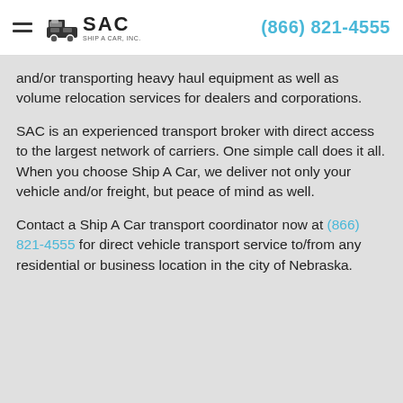SAC Ship A Car, Inc. | (866) 821-4555
and/or transporting heavy haul equipment as well as volume relocation services for dealers and corporations.
SAC is an experienced transport broker with direct access to the largest network of carriers. One simple call does it all. When you choose Ship A Car, we deliver not only your vehicle and/or freight, but peace of mind as well.
Contact a Ship A Car transport coordinator now at (866) 821-4555 for direct vehicle transport service to/from any residential or business location in the city of Nebraska.